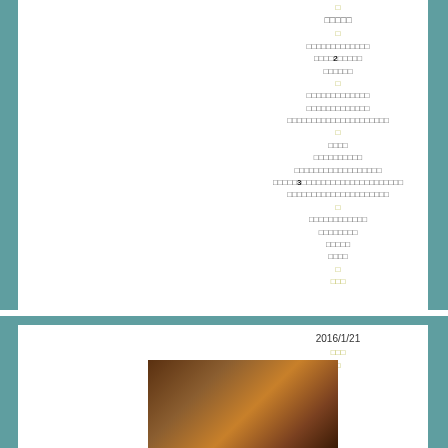□
□□□□□
□
□□□□□□□□□□□□□
□□□□2□□□□□
□□□□□□
□
□□□□□□□□□□□□□
□□□□□□□□□□□□□
□□□□□□□□□□□□□□□□□□□□□
□
□□□□
□□□□□□□□□□
□□□□□□□□□□□□□□□□□□
□□□□□3□□□□□□□□□□□□□□□□□□□□□□
□□□□□□□□□□□□□□□□□□□□□
□
□□□□□□□□□□□□
□□□□□□□□
□□□□□
□□□□
□
□□□
2016/1/21
□□□
□
[Figure (photo): Close-up photo of brown leather object]